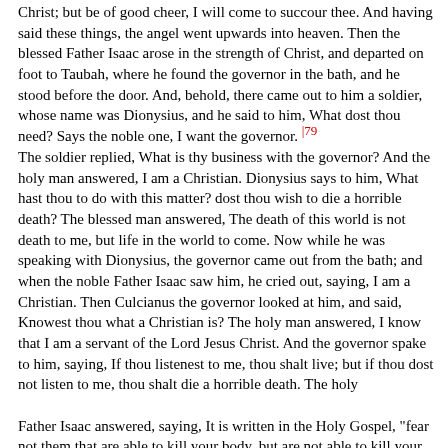Christ; but be of good cheer, I will come to succour thee. And having said these things, the angel went upwards into heaven. Then the blessed Father Isaac arose in the strength of Christ, and departed on foot to Taubah, where he found the governor in the bath, and he stood before the door. And, behold, there came out to him a soldier, whose name was Dionysius, and he said to him, What dost thou need? Says the noble one, I want the governor. |79 The soldier replied, What is thy business with the governor? And the holy man answered, I am a Christian. Dionysius says to him, What hast thou to do with this matter? dost thou wish to die a horrible death? The blessed man answered, The death of this world is not death to me, but life in the world to come. Now while he was speaking with Dionysius, the governor came out from the bath; and when the noble Father Isaac saw him, he cried out, saying, I am a Christian. Then Culcianus the governor looked at him, and said, Knowest thou what a Christian is? The holy man answered, I know that I am a servant of the Lord Jesus Christ. And the governor spake to him, saying, If thou listenest to me, thou shalt live; but if thou dost not listen to me, thou shalt die a horrible death. The holy Father Isaac answered, saying, It is written in the Holy Gospel, "fear not them that are able to kill your body, but are not able to kill your soul; but fear rather Him that is able to destroy the soul and the body in the Gehenna of fire." Says the governor to him, Where are these things written? And the holy man made answer to him, "They are written in the Gospels." And again the governor